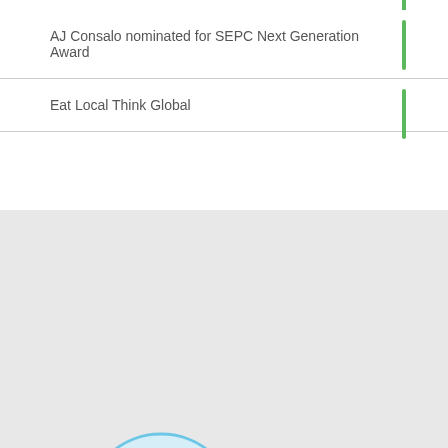AJ Consalo nominated for SEPC Next Generation Award
Eat Local Think Global
[Figure (logo): Consalo Family Farms logo: circular emblem with sun, green leaf, and rolling green fields. Below: 'CONSALO FAMILY FARMS' text in blue with green underline dashes.]
Sales by
[Figure (logo): Partially visible second logo at bottom of page.]